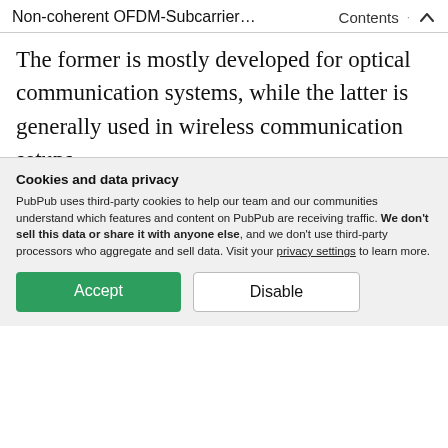Non-coherent OFDM-Subcarrier… Contents
The former is mostly developed for optical communication systems, while the latter is generally used in wireless communication setups.
In unipolar OFDM, the transmitter and the receiver use non-coherent modulation and non-coherent demodulation respectively.
This type of communication system is
Cookies and data privacy
PubPub uses third-party cookies to help our team and our communities understand which features and content on PubPub are receiving traffic. We don't sell this data or share it with anyone else, and we don't use third-party processors who aggregate and sell data. Visit your privacy settings to learn more.